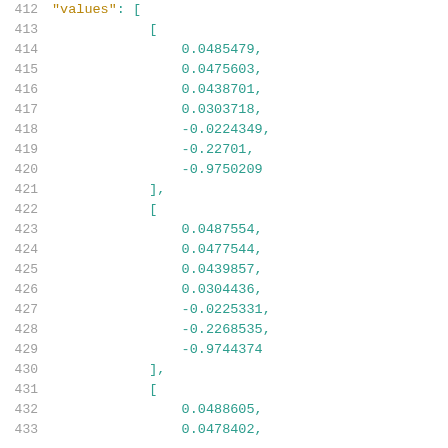412    "values": [
413        [
414            0.0485479,
415            0.0475603,
416            0.0438701,
417            0.0303718,
418            -0.0224349,
419            -0.22701,
420            -0.9750209
421        ],
422        [
423            0.0487554,
424            0.0477544,
425            0.0439857,
426            0.0304436,
427            -0.0225331,
428            -0.2268535,
429            -0.9744374
430        ],
431        [
432            0.0488605,
433            0.0478402,